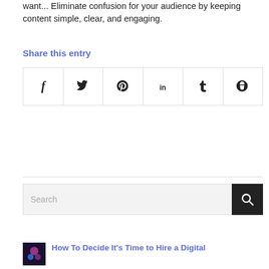want... Eliminate confusion for your audience by keeping content simple, clear, and engaging.
Share this entry
[Figure (infographic): Row of 6 social media share icon buttons in bordered cells: Facebook (f), Twitter (bird), Pinterest (p), LinkedIn (in), Tumblr (t), Reddit (alien)]
[Figure (infographic): Search bar with text input showing placeholder 'Search' and a dark search button with magnifying glass icon]
How To Decide It's Time to Hire a Digital